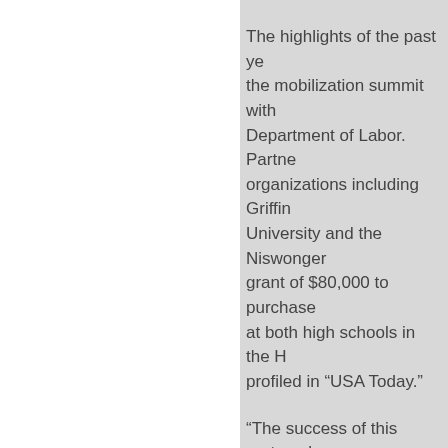The highlights of the past year include the mobilization summit with the Department of Labor. Partners and organizations including Griffin University and the Niswonger grant of $80,000 to purchase at both high schools in the Ha profiled in “USA Today.”
“The success of this partnership starting with dual enrollment and leading up to the location being on Walters State’s Mor
“Thank you to Dr. Lynch and the support and dedication to this teachers and faculty members teaching and learning,” Camp
“We have deep gratitude to W and Dr. Campbell -- to the entire County Schools in the Techno allowed our staff and student